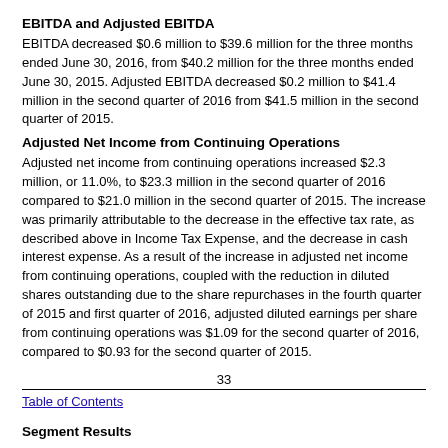EBITDA and Adjusted EBITDA
EBITDA decreased $0.6 million to $39.6 million for the three months ended June 30, 2016, from $40.2 million for the three months ended June 30, 2015. Adjusted EBITDA decreased $0.2 million to $41.4 million in the second quarter of 2016 from $41.5 million in the second quarter of 2015.
Adjusted Net Income from Continuing Operations
Adjusted net income from continuing operations increased $2.3 million, or 11.0%, to $23.3 million in the second quarter of 2016 compared to $21.0 million in the second quarter of 2015. The increase was primarily attributable to the decrease in the effective tax rate, as described above in Income Tax Expense, and the decrease in cash interest expense. As a result of the increase in adjusted net income from continuing operations, coupled with the reduction in diluted shares outstanding due to the share repurchases in the fourth quarter of 2015 and first quarter of 2016, adjusted diluted earnings per share from continuing operations was $1.09 for the second quarter of 2016, compared to $0.93 for the second quarter of 2015.
33
Table of Contents
Segment Results